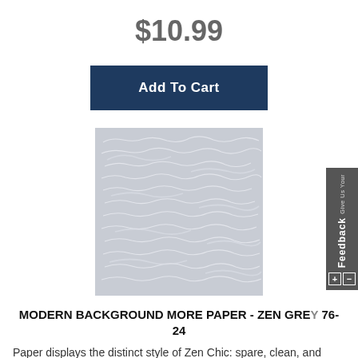$10.99
Add To Cart
[Figure (photo): Square fabric swatch showing a light gray background with white handwritten script text pattern — Modern Background More Paper Zen Grey fabric.]
MODERN BACKGROUND MORE PAPER - ZEN GREY 76-24
Paper displays the distinct style of Zen Chic: spare, clean, and modern. A background fabric with all the features that make it